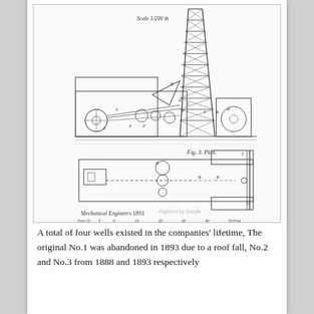[Figure (engineering-diagram): Technical engineering drawing of an oil well drilling rig, showing an elevation view (top) with a tall lattice derrick tower and machinery at its base, and a plan view (bottom, labeled 'Fig. 3. Plan.'). Includes scale notation 'Scale 1/200 th', attribution 'Mechanical Engineers 1893', and a scale bar reading 'Feet 10 5 0 10 20 30 40 50 Feet'. Watermark: 'Digitized by Google'.]
A total of four wells existed in the companiesâ€™ lifetime, The original No.1 was abandoned in 1893 due to a roof fall, No.2 and No.3 from 1888 and 1893 respectively